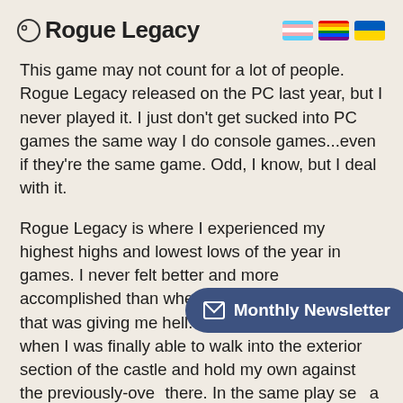Rogue Legacy
This game may not count for a lot of people. Rogue Legacy released on the PC last year, but I never played it. I just don't get sucked into PC games the same way I do console games...even if they're the same game. Odd, I know, but I deal with it.
Rogue Legacy is where I experienced my highest highs and lowest lows of the year in games. I never felt better and more accomplished than when I finally beat that boss that was giving me hell. I felt so empowered when I was finally able to walk into the exterior section of the castle and hold my own against the previously-over there. In the same play se a dummy as I died in one o damn floating skull.